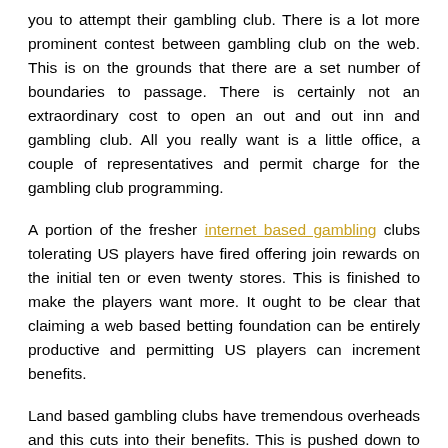you to attempt their gambling club. There is a lot more prominent contest between gambling club on the web. This is on the grounds that there are a set number of boundaries to passage. There is certainly not an extraordinary cost to open an out and out inn and gambling club. All you really want is a little office, a couple of representatives and permit charge for the gambling club programming.
A portion of the fresher internet based gambling clubs tolerating US players have fired offering join rewards on the initial ten or even twenty stores. This is finished to make the players want more. It ought to be clear that claiming a web based betting foundation can be entirely productive and permitting US players can increment benefits.
Land based gambling clubs have tremendous overheads and this cuts into their benefits. This is pushed down to the player. Not in the least do US players need to head out to the gambling club, yet they get more regrettable chances, no sign up rewards and...